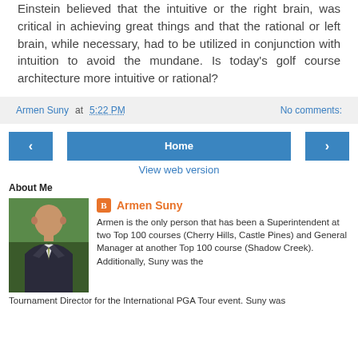Einstein believed that the intuitive or the right brain, was critical in achieving great things and that the rational or left brain, while necessary, had to be utilized in conjunction with intuition to avoid the mundane. Is today's golf course architecture more intuitive or rational?
Armen Suny at 5:22 PM   No comments:
‹  Home  ›
View web version
About Me
Armen Suny
Armen is the only person that has been a Superintendent at two Top 100 courses (Cherry Hills, Castle Pines) and General Manager at another Top 100 course (Shadow Creek). Additionally, Suny was the Tournament Director for the International PGA Tour event. Suny was